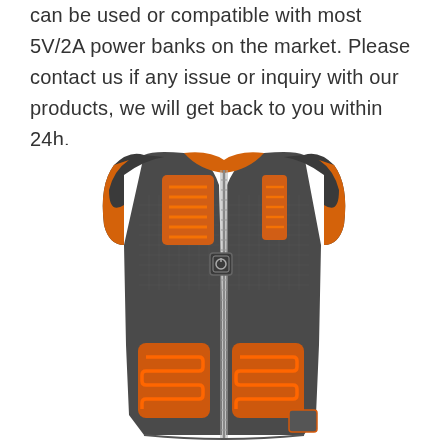can be used or compatible with most 5V/2A power banks on the market. Please contact us if any issue or inquiry with our products, we will get back to you within 24h.
[Figure (photo): A heated vest (sleeveless jacket) in dark gray/black with visible orange heating elements on the chest panels and upper back/shoulder areas. The vest has a center zipper and a small control button on the left chest. The interior lining is orange. Heating pads are shown glowing orange on both left and right chest areas and the upper chest/collar area.]